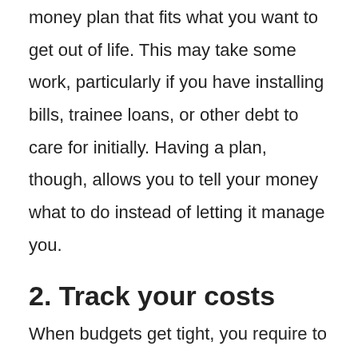money plan that fits what you want to get out of life. This may take some work, particularly if you have installing bills, trainee loans, or other debt to care for initially. Having a plan, though, allows you to tell your money what to do instead of letting it manage you.
2. Track your costs
When budgets get tight, you require to have a clear grasp on every dollar. Among the best ways to figure out where your cash is going is to begin tracking your costs. Lots of budgeting apps can give you a comprehensive look at where you are spending the